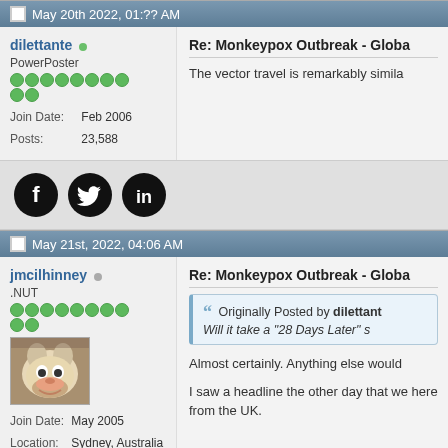May 20th 2022, 01:?? AM
dilettante
PowerPoster
Join Date: Feb 2006
Posts: 23,588
Re: Monkeypox Outbreak - Globa
The vector travel is remarkably simila
[Figure (other): Social media share icons: Facebook, Twitter, LinkedIn]
May 21st, 2022, 04:06 AM
jmcilhinney
.NUT
Join Date: May 2005
Location: Sydney, Australia
Posts: 108,740
[Figure (photo): Avatar photo of a white dog/puppy lying down with mouth open]
Re: Monkeypox Outbreak - Globa
Originally Posted by dilettant
Will it take a "28 Days Later" s
Almost certainly. Anything else would
I saw a headline the other day that we here from the UK.